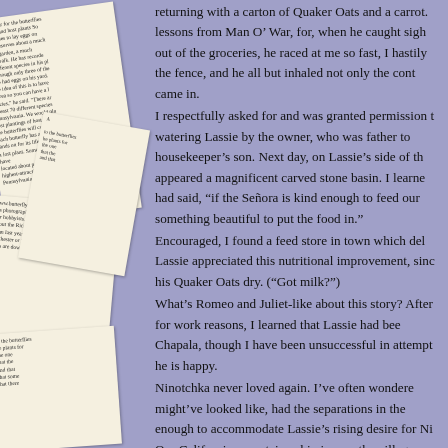[Figure (illustration): Decorative newspaper clippings arranged on a lavender/purple background, left side of page]
returning with a carton of Quaker Oats and a carrot. lessons from Man O’ War, for, when he caught sight out of the groceries, he raced at me so fast, I hastily the fence, and he all but inhaled not only the cont came in.
I respectfully asked for and was granted permission t watering Lassie by the owner, who was father to housekeeper’s son. Next day, on Lassie’s side of th appeared a magnificent carved stone basin. I learne had said, “if the Señora is kind enough to feed our something beautiful to put the food in.”
Encouraged, I found a feed store in town which del Lassie appreciated this nutritional improvement, sinc his Quaker Oats dry. (“Got milk?”)
What’s Romeo and Juliet-like about this story? After for work reasons, I learned that Lassie had bee Chapala, though I have been unsuccessful in attempt he is happy.
Ninotchka never loved again. I’ve often wondere might’ve looked like, had the separations in the enough to accommodate Lassie’s rising desire for Ni Our California mountain cabin is near the village s the only time Ninotchka springs into action is at th horse. She does not rest until she has sniffed to her s Lassie, and dejectedly turns away.